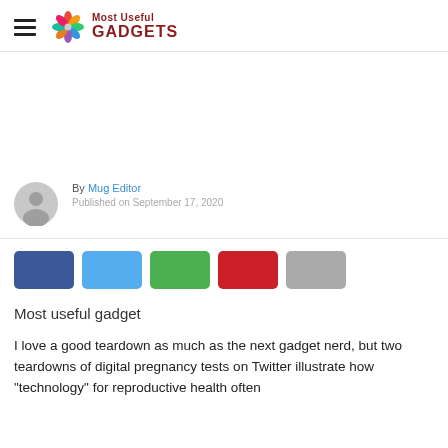Most Useful GADGETS
[Figure (photo): Avatar/profile icon placeholder (gray circle with person silhouette)]
By Mug Editor
Published on September 17, 2020
[Figure (infographic): Social share buttons: Facebook (dark blue), Twitter (light blue), WhatsApp (green), Pinterest (red), More (gray)]
Most useful gadget
I love a good teardown as much as the next gadget nerd, but two teardowns of digital pregnancy tests on Twitter illustrate how "technology" for reproductive health often